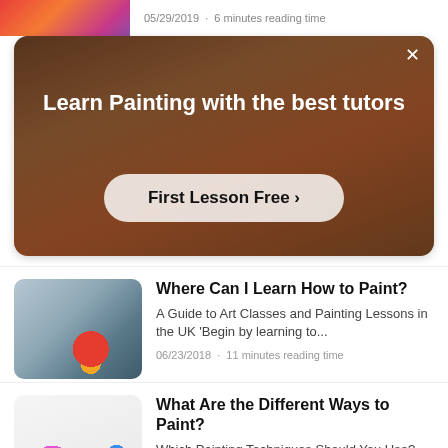05/29/2019 · 6 minutes reading time
[Figure (photo): Advertisement banner: person painting with text overlay 'Learn Painting with the best tutors' and a 'First Lesson Free >' button]
[Figure (photo): Thumbnail of colorful painting supplies including watercolor palettes, brushes, and a red bottle]
Where Can I Learn How to Paint?
A Guide to Art Classes and Painting Lessons in the UK 'Begin by learning to...
06/23/2018 · 11 minutes reading time
[Figure (photo): Thumbnail of a white paint palette tray with colorful watercolor paints in circular wells]
What Are the Different Ways to Paint?
Which Painting Techniques Should You Use? "Paintings have a life of their own tha...
06/13/2018 · 8 minutes reading time